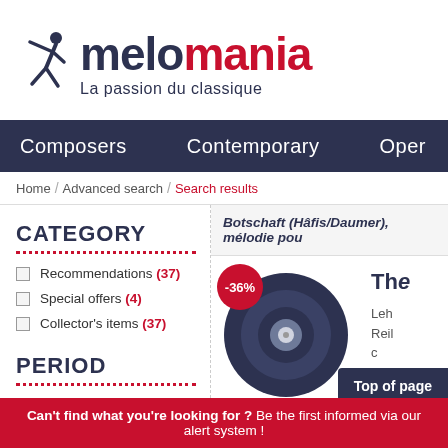[Figure (logo): Melomania logo with dancer figure, 'melo' in dark navy and 'mania' in red, tagline 'La passion du classique']
Composers   Contemporary   Oper
Home / Advanced search / Search results
CATEGORY
Recommendations (37)
Special offers (4)
Collector's items (37)
PERIOD
Botschaft (Hâfis/Daumer), mélodie pou
[Figure (illustration): Vinyl record (dark navy) with white center, discount badge -36% in red]
The
Leh
Reil
c
Top of page
Can't find what you're looking for ? Be the first informed via our alert system !